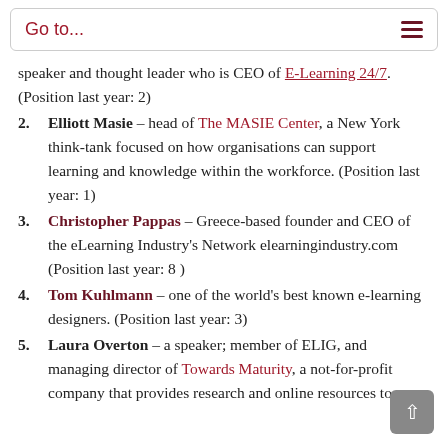Go to...
speaker and thought leader who is CEO of E-Learning 24/7. (Position last year: 2)
2. Elliott Masie – head of The MASIE Center, a New York think-tank focused on how organisations can support learning and knowledge within the workforce. (Position last year: 1)
3. Christopher Pappas – Greece-based founder and CEO of the eLearning Industry's Network elearningindustry.com (Position last year: 8 )
4. Tom Kuhlmann – one of the world's best known e-learning designers. (Position last year: 3)
5. Laura Overton – a speaker; member of ELIG, and managing director of Towards Maturity, a not-for-profit company that provides research and online resources to